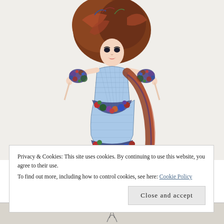[Figure (illustration): Fashion illustration of a stylized woman with voluminous auburn/red curly hair, wearing a light blue form-fitting gown with colorful floral embellishments at the shoulders, waist, and hem. She has her arms outstretched slightly and her long red hair trails behind her. The background is off-white/cream.]
Privacy & Cookies: This site uses cookies. By continuing to use this website, you agree to their use.
To find out more, including how to control cookies, see here: Cookie Policy
[Figure (illustration): Partial view of another fashion illustration visible at the bottom of the page, showing only the top portion.]